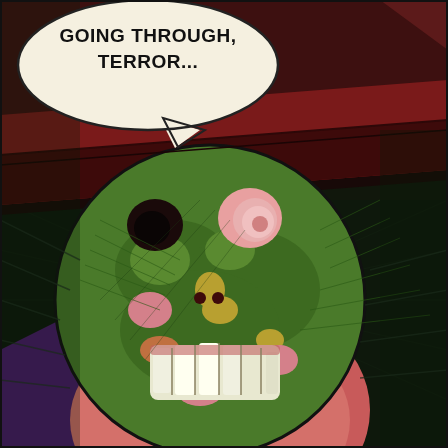[Figure (illustration): Comic book panel showing a close-up of a grotesque zombie-like villain with green decaying skin, exposed teeth, one intact pink eye and one missing eye, wearing a dark red wide-brimmed hat and pink/red clothing. The character has a monstrous grinning expression with visible decay marks and lesions on the face. The background is dark/black with speed lines radiating outward. A speech bubble in the upper left reads 'GOING THROUGH, TERROR...' in bold comic lettering.]